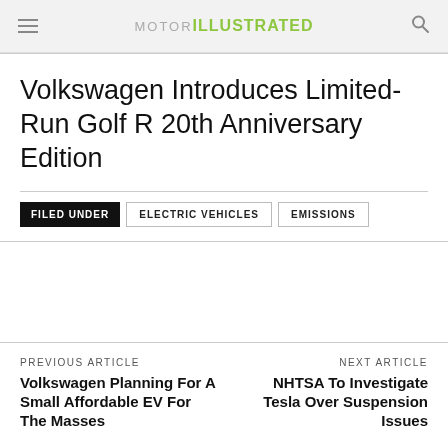MOTOR ILLUSTRATED
Volkswagen Introduces Limited-Run Golf R 20th Anniversary Edition
FILED UNDER   ELECTRIC VEHICLES   EMISSIONS
PREVIOUS ARTICLE
Volkswagen Planning For A Small Affordable EV For The Masses
NEXT ARTICLE
NHTSA To Investigate Tesla Over Suspension Issues